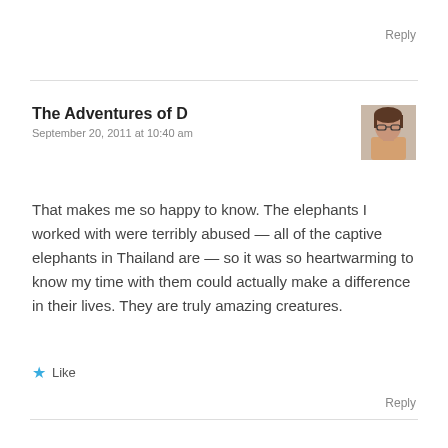Reply
The Adventures of D
September 20, 2011 at 10:40 am
[Figure (photo): Small avatar photo of a person wearing glasses]
That makes me so happy to know. The elephants I worked with were terribly abused — all of the captive elephants in Thailand are — so it was so heartwarming to know my time with them could actually make a difference in their lives. They are truly amazing creatures.
★ Like
Reply